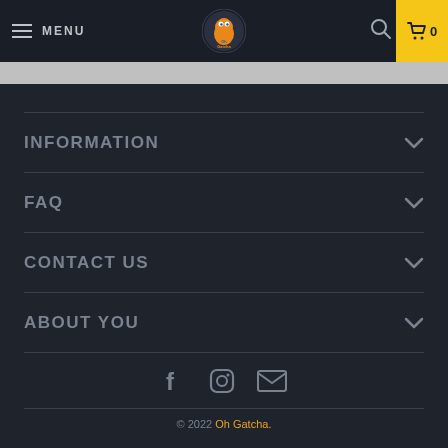MENU | Oh Gatcha logo | search | cart 0
INFORMATION
FAQ
CONTACT US
ABOUT YOU
[Figure (illustration): Social media icons: Facebook, Instagram, Email]
© 2022 Oh Gatcha.